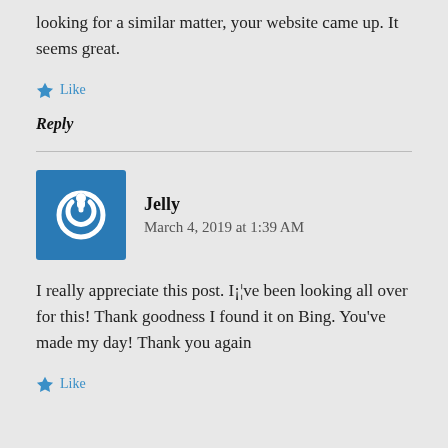looking for a similar matter, your website came up. It seems great.
Like
Reply
Jelly
March 4, 2019 at 1:39 AM
I really appreciate this post. I¡¦ve been looking all over for this! Thank goodness I found it on Bing. You've made my day! Thank you again
Like